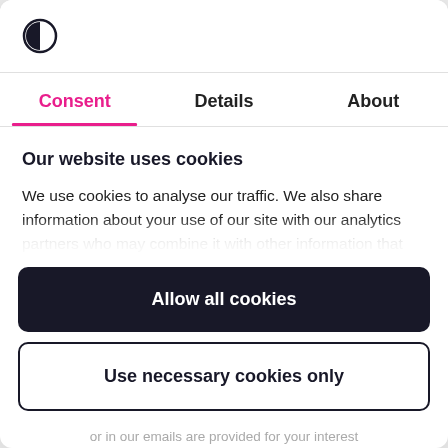[Figure (logo): Half-circle/split-circle logo icon (Didomi branding)]
Consent
Details
About
Our website uses cookies
We use cookies to analyse our traffic. We also share information about your use of our site with our analytics partners who may combine it with other information that you've provided to them or that they've collected from
Allow all cookies
Use necessary cookies only
or in our emails are provided for your interest